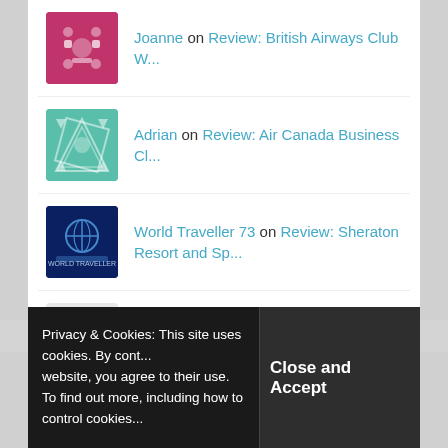Joanne on Review: British Airways Club W...
Adrian on Review: Air Canada Business Cl...
World Traveller 73 on Review: Sheraton Resort and Sp...
Brian on Review: Sheraton Resort and Sp...
Advertisements
Privacy & Cookies: This site uses cookies. By cont... website, you agree to their use. To find out more, including how to control cookies...
Close and Accept